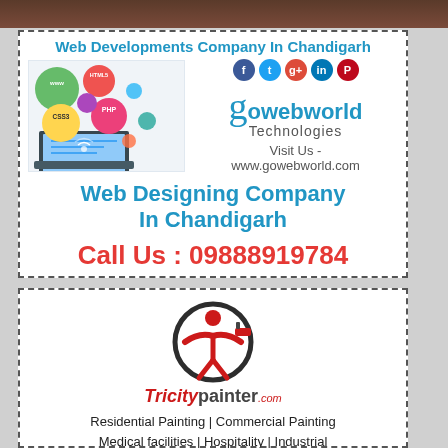[Figure (photo): Dark brown/red top image strip, partial photo]
[Figure (infographic): Web Developments Company In Chandigarh ad with gowebworld Technologies logo, tech bubbles (HTML5, CSS3, PHP, www), social media icons, Visit Us - www.gowebworld.com]
Web Designing Company In Chandigarh
Call Us : 09888919784
[Figure (logo): Tricitypainter.com logo — dark circle with red figure holding a paint roller]
Residential Painting | Commercial Painting Medical facilities | Hospitality | Industrial Education centers | Religious Institutions